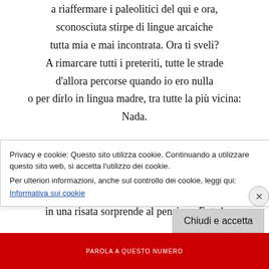a riaffermare i paleolitici del qui e ora,
sconosciuta stirpe di lingue arcaiche
tutta mia e mai incontrata. Ora ti sveli?
A rimarcare tutti i preteriti, tutte le strade
d'allora percorse quando io ero nulla
o per dirlo in lingua madre, tra tutte la più vicina:
Nada.

E potrei pensare di poter annientarti
o almeno negarti, ma la brillantezza nera,
quasi carbone che mi fa specchio,
in una risata sorprende al pensiero. Fatta!
Privacy e cookie: Questo sito utilizza cookie. Continuando a utilizzare questo sito web, si accetta l'utilizzo dei cookie.
Per ulteriori informazioni, anche sul controllo dei cookie, leggi qui:
Informativa sui cookie